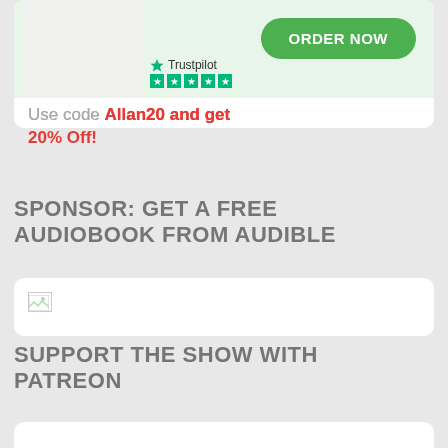[Figure (screenshot): Top card with book image, Trustpilot stars, ORDER NOW green button, and light green background]
Use code Allan20 and get 20% Off!
SPONSOR: GET A FREE AUDIOBOOK FROM AUDIBLE
[Figure (photo): White card box with broken/missing image icon in top-left corner]
SUPPORT THE SHOW WITH PATREON
[Figure (photo): White card box (partially visible at bottom of page)]